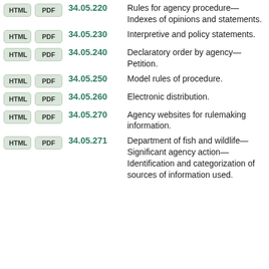34.05.220 Rules for agency procedure—Indexes of opinions and statements.
34.05.230 Interpretive and policy statements.
34.05.240 Declaratory order by agency—Petition.
34.05.250 Model rules of procedure.
34.05.260 Electronic distribution.
34.05.270 Agency websites for rulemaking information.
34.05.271 Department of fish and wildlife—Significant agency action—Identification and categorization of sources of information used.